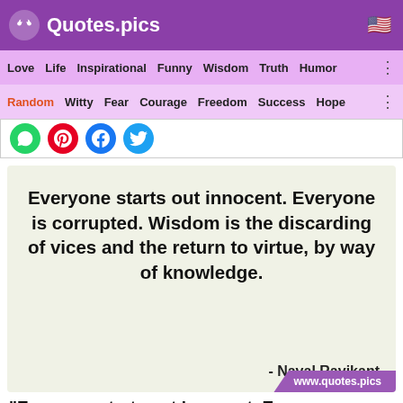Quotes.pics
Love  Life  Inspirational  Funny  Wisdom  Truth  Humor
Random  Witty  Fear  Courage  Freedom  Success  Hope
[Figure (screenshot): Social sharing icons: WhatsApp, Pinterest, Facebook, Twitter]
Everyone starts out innocent. Everyone is corrupted. Wisdom is the discarding of vices and the return to virtue, by way of knowledge.
- Naval Ravikant
"Everyone starts out innocent. Everyone...